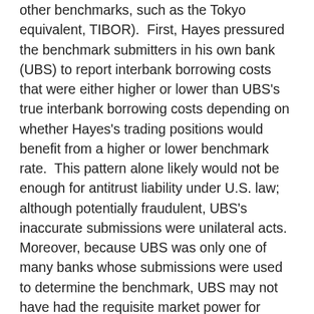other benchmarks, such as the Tokyo equivalent, TIBOR). First, Hayes pressured the benchmark submitters in his own bank (UBS) to report interbank borrowing costs that were either higher or lower than UBS's true interbank borrowing costs depending on whether Hayes's trading positions would benefit from a higher or lower benchmark rate. This pattern alone likely would not be enough for antitrust liability under U.S. law; although potentially fraudulent, UBS's inaccurate submissions were unilateral acts. Moreover, because UBS was only one of many banks whose submissions were used to determine the benchmark, UBS may not have had the requisite market power for liability under Section 2 of the Sherman Act.
But according to the book, Hayes also attempted to manipulate LIBOR through other third parties. By communicating directly with employees at other banks and by using brokers as intermediaries, he allegedly